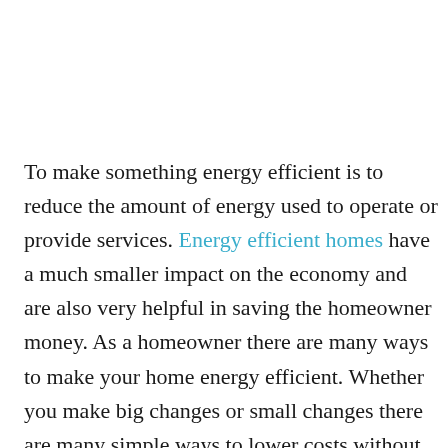To make something energy efficient is to reduce the amount of energy used to operate or provide services. Energy efficient homes have a much smaller impact on the economy and are also very helpful in saving the homeowner money. As a homeowner there are many ways to make your home energy efficient. Whether you make big changes or small changes there are many simple ways to lower costs without giving up comforts. You can feel good about these changes because you are doing something to help your